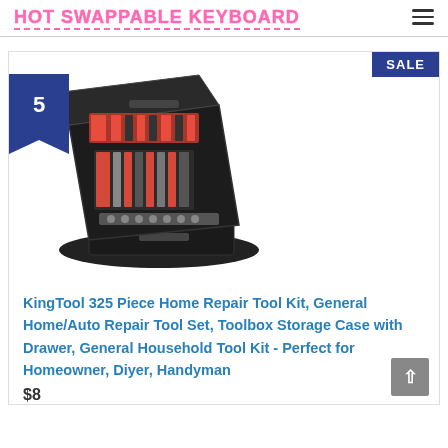HOT SWAPPABLE KEYBOARD
[Figure (illustration): Product listing card with number badge '5', SALE badge, and a tool kit case image (KingTool 325-piece set opened showing red and black tools)]
KingTool 325 Piece Home Repair Tool Kit, General Home/Auto Repair Tool Set, Toolbox Storage Case with Drawer, General Household Tool Kit - Perfect for Homeowner, Diyer, Handyman
$82.98